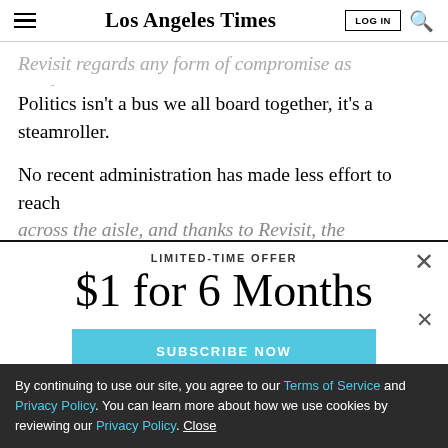Los Angeles Times
Revisit regards any form of compromise as weakness. Politics isn't a bus we all board together, it's a steamroller.
No recent administration has made less effort to reach across the aisle, and thanks to Revisit, the Republican
LIMITED-TIME OFFER
$1 for 6 Months
SUBSCRIBE NOW
By continuing to use our site, you agree to our Terms of Service and Privacy Policy. You can learn more about how we use cookies by reviewing our Privacy Policy. Close